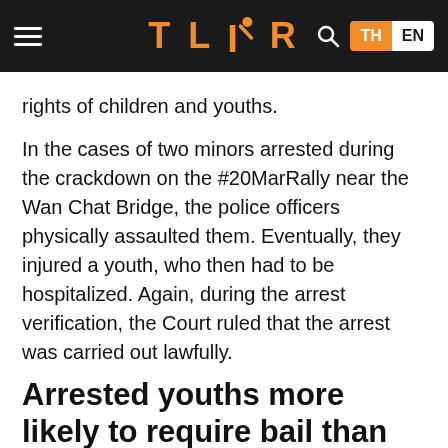TLDR — TH EN
rights of children and youths.
In the cases of two minors arrested during the crackdown on the #20MarRally near the Wan Chat Bridge, the police officers physically assaulted them. Eventually, they injured a youth, who then had to be hospitalized. Again, during the arrest verification, the Court ruled that the arrest was carried out lawfully.
Arrested youths more likely to require bail than adult counterparts despite reporting to the authorities per their summons
Youths arrested during their participation in protests